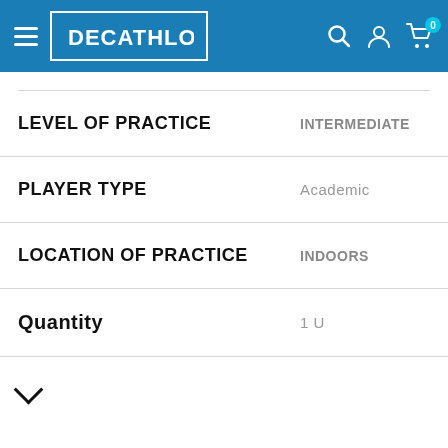[Figure (screenshot): Decathlon website header with hamburger menu, Decathlon logo, search icon, account icon, and cart icon with badge showing 0]
| Attribute | Value |
| --- | --- |
| LEVEL OF PRACTICE | INTERMEDIATE |
| PLAYER TYPE | Academic |
| LOCATION OF PRACTICE | INDOORS |
| Quantity | 1 U |